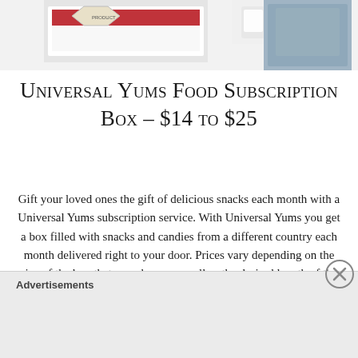[Figure (photo): Product images at top of page — left shows a boxed product with red label, right shows a blue fabric/clothing item, center shows a small white item]
Universal Yums Food Subscription Box – $14 to $25
Gift your loved ones the gift of delicious snacks each month with a Universal Yums subscription service. With Universal Yums you get a box filled with snacks and candies from a different country each month delivered right to your door. Prices vary depending on the size of the box that you choose as well as the desired length of the subscription service.
Advertisements